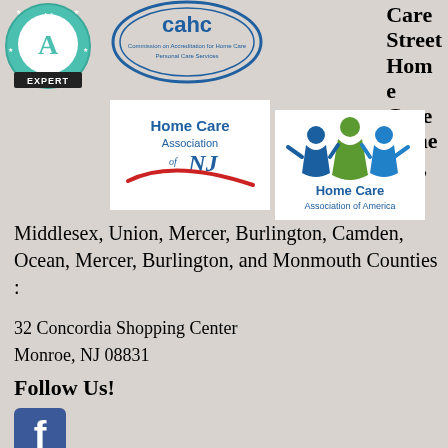[Figure (logo): Expert badge logo (teal circular badge with A and 'EXPERT' text)]
[Figure (logo): CAHC - Commission on Accreditation for Home Care Personal Care Services circular logo]
Care Street Home Care Somerset,
[Figure (logo): Home Care Association of NJ logo with red swoosh]
[Figure (logo): Home Care Association of America logo with colorful figures]
Middlesex, Union, Mercer, Burlington, Camden, Ocean, Mercer, Burlington, and Monmouth Counties :
32 Concordia Shopping Center
Monroe, NJ 08831
Follow Us!
[Figure (logo): Facebook social media icon - blue square with white f]